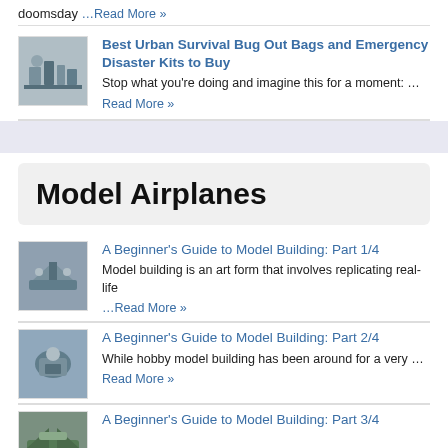doomsday …Read More »
Best Urban Survival Bug Out Bags and Emergency Disaster Kits to Buy
Stop what you're doing and imagine this for a moment: …
Read More »
Model Airplanes
A Beginner's Guide to Model Building: Part 1/4
Model building is an art form that involves replicating real-life …Read More »
A Beginner's Guide to Model Building: Part 2/4
While hobby model building has been around for a very … Read More »
A Beginner's Guide to Model Building: Part 3/4